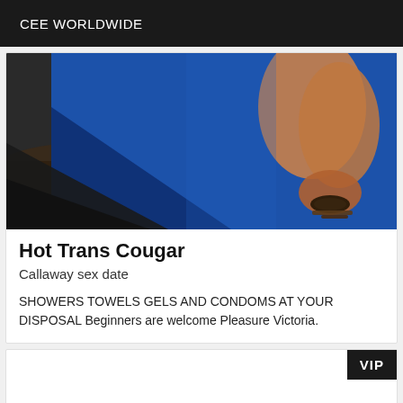CEE WORLDWIDE
[Figure (photo): Close-up photo showing blue fabric/clothing and a person's leg/ankle with a bracelet against a dark background]
Hot Trans Cougar
Callaway sex date
SHOWERS TOWELS GELS AND CONDOMS AT YOUR DISPOSAL Beginners are welcome Pleasure Victoria.
[Figure (other): Second listing card with VIP badge, content mostly blank/white]